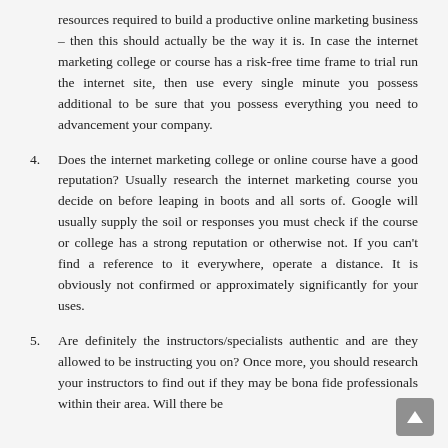resources required to build a productive online marketing business – then this should actually be the way it is. In case the internet marketing college or course has a risk-free time frame to trial run the internet site, then use every single minute you possess additional to be sure that you possess everything you need to advancement your company.
4. Does the internet marketing college or online course have a good reputation? Usually research the internet marketing course you decide on before leaping in boots and all sorts of. Google will usually supply the soil or responses you must check if the course or college has a strong reputation or otherwise not. If you can't find a reference to it everywhere, operate a distance. It is obviously not confirmed or approximately significantly for your uses.
5. Are definitely the instructors/specialists authentic and are they allowed to be instructing you on? Once more, you should research your instructors to find out if they may be bona fide professionals within their area. Will there be